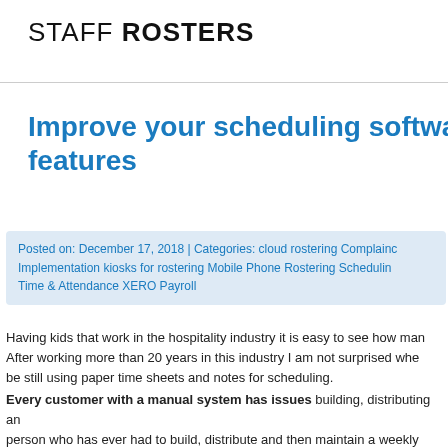STAFF ROSTERS
Improve your scheduling software features
Posted on: December 17, 2018 | Categories: cloud rostering Compliance Implementation kiosks for rostering Mobile Phone Rostering Scheduling Time & Attendance XERO Payroll
Having kids that work in the hospitality industry it is easy to see how man. After working more than 20 years in this industry I am not surprised whe be still using paper time sheets and notes for scheduling.
Every customer with a manual system has issues building, distributing and person who has ever had to build, distribute and then maintain a weekly what I am talking about here.